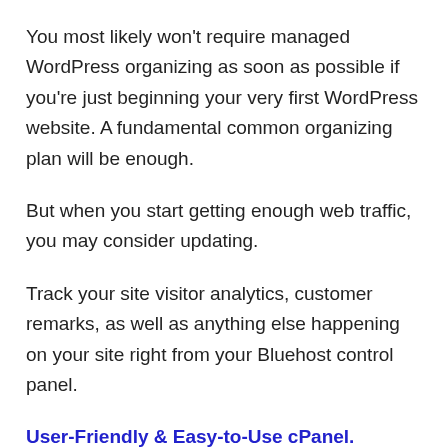You most likely won't require managed WordPress organizing as soon as possible if you're just beginning your very first WordPress website. A fundamental common organizing plan will be enough.
But when you start getting enough web traffic, you may consider updating.
Track your site visitor analytics, customer remarks, as well as anything else happening on your site right from your Bluehost control panel.
User-Friendly & Easy-to-Use cPanel.
All the holding strategies offered by Bluehost are straightforward to make use of and also configure.
It is easy to register, set up your holding account, manage domain,